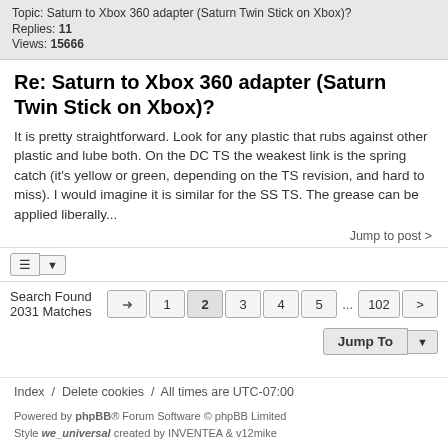Topic: Saturn to Xbox 360 adapter (Saturn Twin Stick on Xbox)?
Replies: 11
Views: 15666
Re: Saturn to Xbox 360 adapter (Saturn Twin Stick on Xbox)?
It is pretty straightforward. Look for any plastic that rubs against other plastic and lube both. On the DC TS the weakest link is the spring catch (it's yellow or green, depending on the TS revision, and hard to miss). I would imagine it is similar for the SS TS. The grease can be applied liberally...
Jump to post >
Search Found 2031 Matches
Jump To
Index / Delete cookies / All times are UTC-07:00
Powered by phpBB® Forum Software © phpBB Limited
Style we_universal created by INVENTEA & v12mike